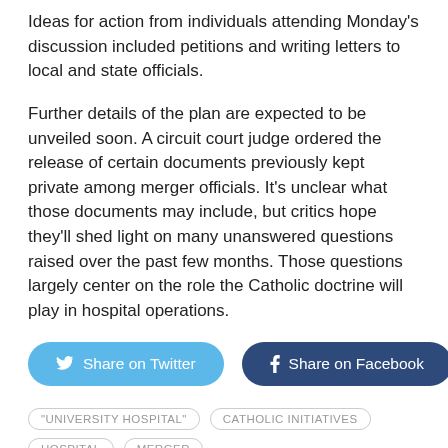Ideas for action from individuals attending Monday's discussion included petitions and writing letters to local and state officials.
Further details of the plan are expected to be unveiled soon. A circuit court judge ordered the release of certain documents previously kept private among merger officials. It’s unclear what those documents may include, but critics hope they’ll shed light on many unanswered questions raised over the past few months. Those questions largely center on the role the Catholic doctrine will play in hospital operations.
[Figure (other): Share on Twitter and Share on Facebook buttons]
“UNIVERSITY HOSPITAL”   CATHOLIC INITIATIVES   HOSPITAL MERGER